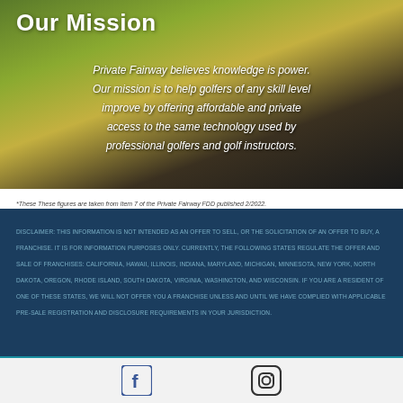Our Mission
Private Fairway believes knowledge is power. Our mission is to help golfers of any skill level improve by offering affordable and private access to the same technology used by professional golfers and golf instructors.
*These These figures are taken from Item 7 of the Private Fairway FDD published 2/2022.
DISCLAIMER: THIS INFORMATION IS NOT INTENDED AS AN OFFER TO SELL, OR THE SOLICITATION OF AN OFFER TO BUY, A FRANCHISE. IT IS FOR INFORMATION PURPOSES ONLY. CURRENTLY, THE FOLLOWING STATES REGULATE THE OFFER AND SALE OF FRANCHISES: CALIFORNIA, HAWAII, ILLINOIS, INDIANA, MARYLAND, MICHIGAN, MINNESOTA, NEW YORK, NORTH DAKOTA, OREGON, RHODE ISLAND, SOUTH DAKOTA, VIRGINIA, WASHINGTON, AND WISCONSIN. IF YOU ARE A RESIDENT OF ONE OF THESE STATES, WE WILL NOT OFFER YOU A FRANCHISE UNLESS AND UNTIL WE HAVE COMPLIED WITH APPLICABLE PRE-SALE REGISTRATION AND DISCLOSURE REQUIREMENTS IN YOUR JURISDICTION.
[Figure (logo): Facebook and Instagram social media icons on teal background]
[Figure (logo): Facebook and Instagram social media icons on white background]